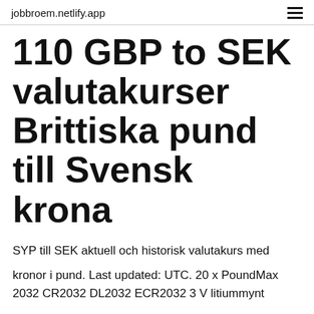jobbroem.netlify.app
110 GBP to SEK valutakurser Brittiska pund till Svensk krona
SYP till SEK aktuell och historisk valutakurs med
kronor i pund. Last updated: UTC. 20 x PoundMax 2032 CR2032 DL2032 ECR2032 3 V litiummynt